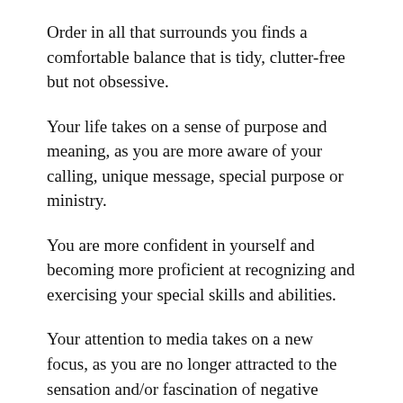Order in all that surrounds you finds a comfortable balance that is tidy, clutter-free but not obsessive.
Your life takes on a sense of purpose and meaning, as you are more aware of your calling, unique message, special purpose or ministry.
You are more confident in yourself and becoming more proficient at recognizing and exercising your special skills and abilities.
Your attention to media takes on a new focus, as you are no longer attracted to the sensation and/or fascination of negative material.